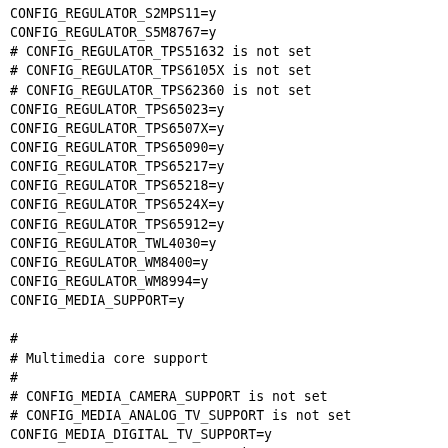CONFIG_REGULATOR_S2MPS11=y
CONFIG_REGULATOR_S5M8767=y
# CONFIG_REGULATOR_TPS51632 is not set
# CONFIG_REGULATOR_TPS6105X is not set
# CONFIG_REGULATOR_TPS62360 is not set
CONFIG_REGULATOR_TPS65023=y
CONFIG_REGULATOR_TPS6507X=y
CONFIG_REGULATOR_TPS65090=y
CONFIG_REGULATOR_TPS65217=y
CONFIG_REGULATOR_TPS65218=y
CONFIG_REGULATOR_TPS6524X=y
CONFIG_REGULATOR_TPS65912=y
CONFIG_REGULATOR_TWL4030=y
CONFIG_REGULATOR_WM8400=y
CONFIG_REGULATOR_WM8994=y
CONFIG_MEDIA_SUPPORT=y

#
# Multimedia core support
#
# CONFIG_MEDIA_CAMERA_SUPPORT is not set
# CONFIG_MEDIA_ANALOG_TV_SUPPORT is not set
CONFIG_MEDIA_DIGITAL_TV_SUPPORT=y
# CONFIG_MEDIA_RADIO_SUPPORT is not set
CONFIG_MEDIA_RC_SUPPORT=y